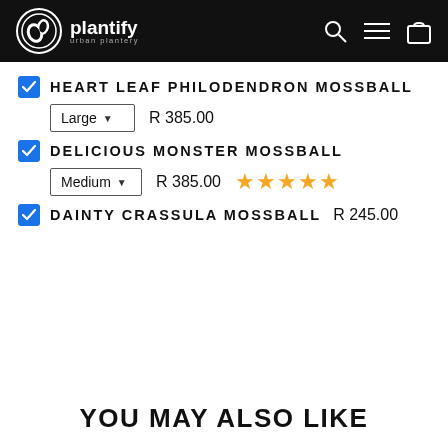plantify urban plantery — navigation header
HEART LEAF PHILODENDRON MOSSBALL — Large — R 385.00
DELICIOUS MONSTER MOSSBALL — Medium — R 385.00 — 5 stars
DAINTY CRASSULA MOSSBALL — R 245.00
YOU MAY ALSO LIKE